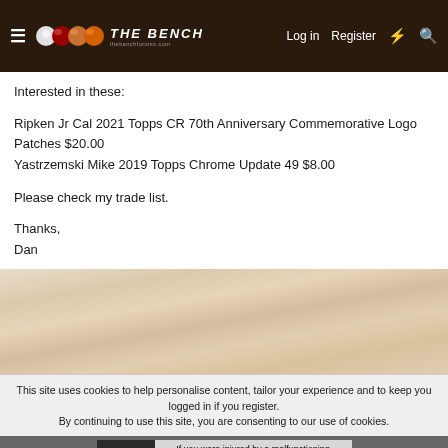THE BENCH | Log in | Register
Interested in these:
Ripken Jr Cal 2021 Topps CR 70th Anniversary Commemorative Logo Patches $20.00
Yastrzemski Mike 2019 Topps Chrome Update 49 $8.00
Please check my trade list.
Thanks,
Dan
This site uses cookies to help personalise content, tailor your experience and to keep you logged in if you register.
By continuing to use this site, you are consenting to our use of cookies.
[Figure (screenshot): Advertisement banner for TAKATA airbag injury compensation claim with EPIQ logo]